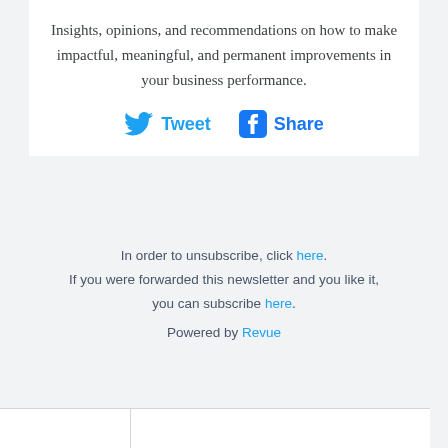Insights, opinions, and recommendations on how to make impactful, meaningful, and permanent improvements in your business performance.
[Figure (infographic): Tweet and Share buttons with Twitter and Facebook icons in blue]
In order to unsubscribe, click here. If you were forwarded this newsletter and you like it, you can subscribe here. Powered by Revue